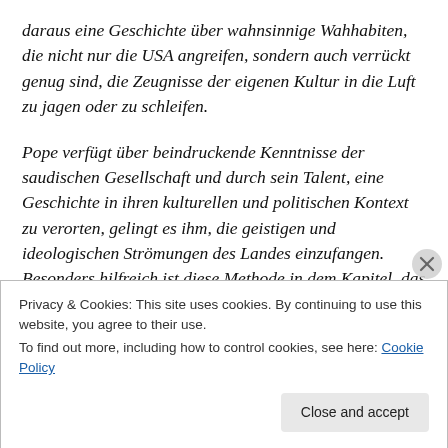daraus eine Geschichte über wahnsinnige Wahhabiten, die nicht nur die USA angreifen, sondern auch verrückt genug sind, die Zeugnisse der eigenen Kultur in die Luft zu jagen oder zu schleifen.
Pope verfügt über beindruckende Kenntnisse der saudischen Gesellschaft und durch sein Talent, eine Geschichte in ihren kulturellen und politischen Kontext zu verorten, gelingt es ihm, die geistigen und ideologischen Strömungen des Landes einzufangen. Besonders hilfreich ist diese Methode in dem Kapitel, das dem Buch den
Privacy & Cookies: This site uses cookies. By continuing to use this website, you agree to their use.
To find out more, including how to control cookies, see here: Cookie Policy
Close and accept